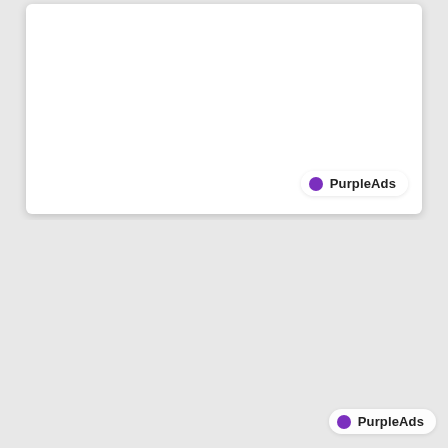[Figure (other): White card panel with rounded corners and drop shadow, mostly blank/empty content area]
[Figure (logo): PurpleAds badge with purple circle dot and text 'PurpleAds' on semi-transparent white pill background, positioned bottom-right of card]
[Figure (logo): PurpleAds badge with purple circle dot and text 'PurpleAds' on semi-transparent white pill background, positioned bottom-right of lower area]